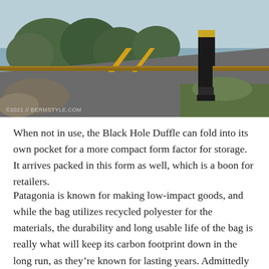[Figure (photo): A person in black shorts and shoes walking along a mountain road with trees and rocks visible, viewed from behind/side. Mountain scenery with road and guardrail.]
When not in use, the Black Hole Duffle can fold into its own pocket for a more compact form factor for storage. It arrives packed in this form as well, which is a boon for retailers.
Patagonia is known for making low-impact goods, and while the bag utilizes recycled polyester for the materials, the durability and long usable life of the bag is really what will keep its carbon footprint down in the long run, as they’re known for lasting years. Admittedly at over $100, the Black Hole Duffle isn’t inexpensive. However, if you’re looking to invest in gear that will not only hold up (Case in point, I have several other gear bags in need of repair with torn seams and